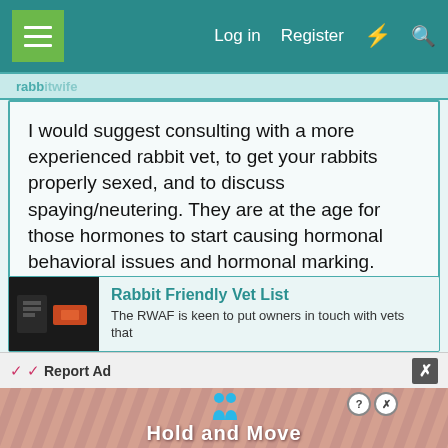Log in  Register
I would suggest consulting with a more experienced rabbit vet, to get your rabbits properly sexed, and to discuss spaying/neutering. They are at the age for those hormones to start causing hormonal behavioral issues and hormonal marking. Getting them both fixed will usually help improve all of these hormonal behaviors like urine marking and excess humping. Plus if you want to keep them bonded together, getting them both fixed seems necessary at this point.
Rabbit Friendly Vet List
The RWAF is keen to put owners in touch with vets that
Report Ad